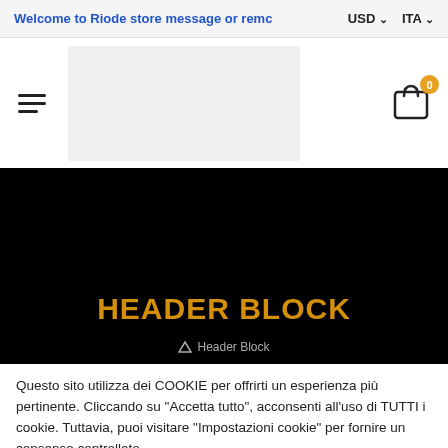Welcome to Riode store message or remc   USD ∨   ITA ∨
[Figure (screenshot): E-commerce navigation bar with hamburger menu icon, logo placeholder (gray rectangle), and shopping cart icon with badge showing 0]
HEADER BLOCK
↑ Header Block
Questo sito utilizza dei COOKIE per offrirti un esperienza più pertinente. Cliccando su "Accetta tutto", acconsenti all'uso di TUTTI i cookie. Tuttavia, puoi visitare "Impostazioni cookie" per fornire un consenso controllato.